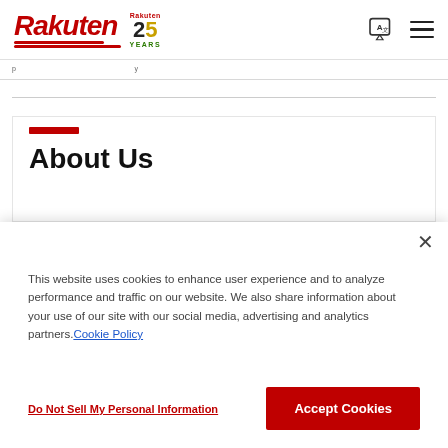Rakuten 25 YEARS
p y
About Us
This website uses cookies to enhance user experience and to analyze performance and traffic on our website. We also share information about your use of our site with our social media, advertising and analytics partners. Cookie Policy
Do Not Sell My Personal Information
Accept Cookies